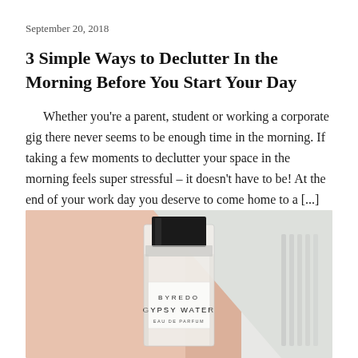September 20, 2018
3 Simple Ways to Declutter In the Morning Before You Start Your Day
Whether you’re a parent, student or working a corporate gig there never seems to be enough time in the morning. If taking a few moments to declutter your space in the morning feels super stressful – it doesn’t have to be! At the end of your work day you deserve to come home to a [...]
[Figure (photo): Close-up photograph of a Byredo Gypsy Water Eau de Parfum perfume bottle held against a blurred background showing skin and white fabric.]